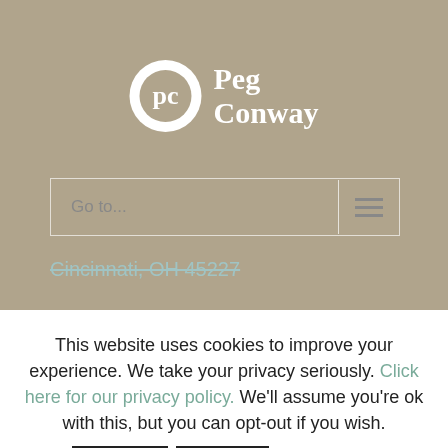[Figure (logo): Peg Conway logo: white circle with stylized 'pc' monogram, followed by 'Peg Conway' serif text in white]
Go to...
Cincinnati, OH 45227
Copyright © 2022 Peg Conway. All Rights Reserved.
This website uses cookies to improve your experience. We take your privacy seriously. Click here for our privacy policy. We'll assume you're ok with this, but you can opt-out if you wish.
Accept | Reject | Read More